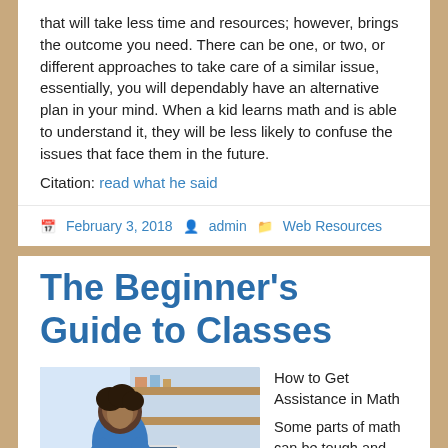that will take less time and resources; however, brings the outcome you need. There can be one, or two, or different approaches to take care of a similar issue, essentially, you will dependably have an alternative plan in your mind. When a kid learns math and is able to understand it, they will be less likely to confuse the issues that face them in the future.
Citation: read what he said
February 3, 2018   admin   Web Resources
The Beginner's Guide to Classes
[Figure (photo): Person sitting at a laptop computer in a kitchen setting]
How to Get Assistance in Math

Some parts of math can be tough and getting help should be highly